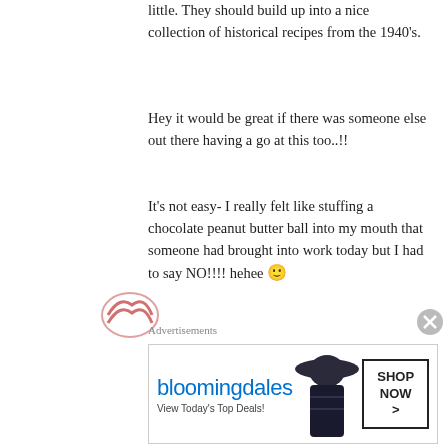little. They should build up into a nice collection of historical recipes from the 1940's.
Hey it would be great if there was someone else out there having a go at this too..!!
It's not easy- I really felt like stuffing a chocolate peanut butter ball into my mouth that someone had brought into work today but I had to say NO!!!! hehee 🙂
C xx
★ Liked by 2 people
Reply
[Figure (logo): Partial avatar/logo visible at bottom left]
Advertisements
[Figure (other): Bloomingdale's advertisement banner: 'View Today's Top Deals!' with SHOP NOW > button]